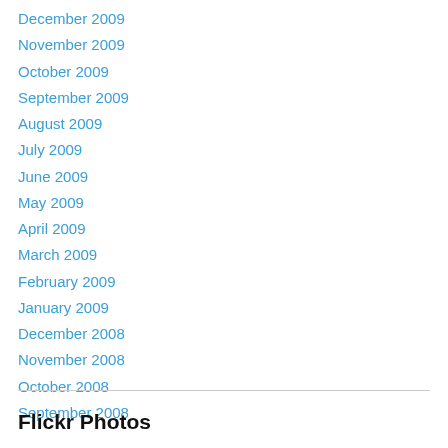December 2009
November 2009
October 2009
September 2009
August 2009
July 2009
June 2009
May 2009
April 2009
March 2009
February 2009
January 2009
December 2008
November 2008
October 2008
September 2008
Flickr Photos